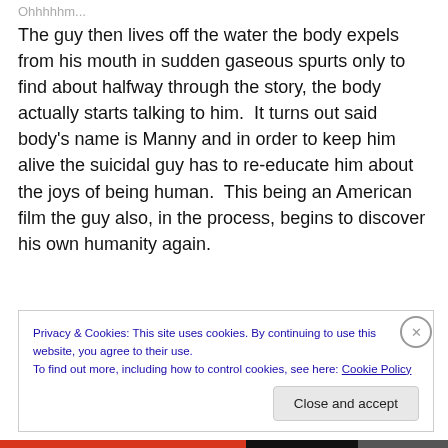Ohhhhhm...
The guy then lives off the water the body expels from his mouth in sudden gaseous spurts only to find about halfway through the story, the body actually starts talking to him.  It turns out said body's name is Manny and in order to keep him alive the suicidal guy has to re-educate him about the joys of being human.  This being an American film the guy also, in the process, begins to discover his own humanity again.
Privacy & Cookies: This site uses cookies. By continuing to use this website, you agree to their use.
To find out more, including how to control cookies, see here: Cookie Policy
Close and accept